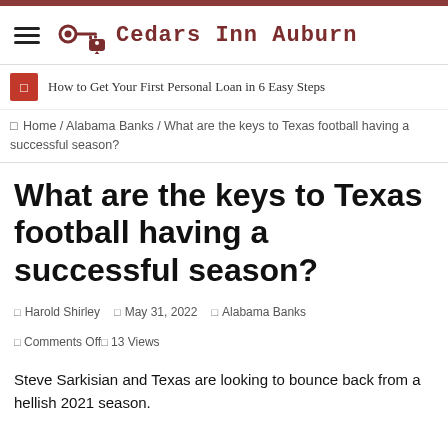Cedars Inn Auburn
How to Get Your First Personal Loan in 6 Easy Steps
Home / Alabama Banks / What are the keys to Texas football having a successful season?
What are the keys to Texas football having a successful season?
Harold Shirley   May 31, 2022   Alabama Banks   Comments Off   13 Views
Steve Sarkisian and Texas are looking to bounce back from a hellish 2021 season.